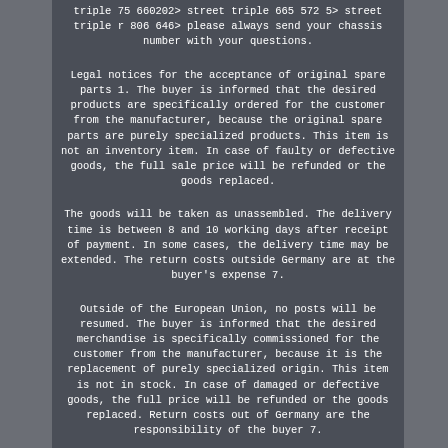triple 75 660202> street triple 665 572 5> street triple r 806 646> please always send your chassis number with your questions.
Legal notices for the acceptance of original spare parts 1. The buyer is informed that the desired products are specifically ordered for the customer from the manufacturer, because the original spare parts are purely specialized products. This item is not an inventory item. In case of faulty or defective goods, the full sale price will be refunded or the goods replaced.
The goods will be taken as unassembled. The delivery time is between 8 and 10 working days after receipt of payment. In some cases, the delivery time may be extended. The return costs outside Germany are at the buyer's expense 7.
Outside of the European Union, no posts will be resumed. The buyer is informed that the desired merchandise is specifically commissioned for the customer from the manufacturer, because it is the replacement of purely specialized origin. This item is not in stock. In case of damaged or defective goods, the full price will be refunded or the goods replaced. Return costs out of Germany are the responsibility of the buyer 7.
No item will be taken outside the European Union. Kit Triumph Street Triple protection framework - helps minimize damage from falls - perfectly matches the triple design of the street - with